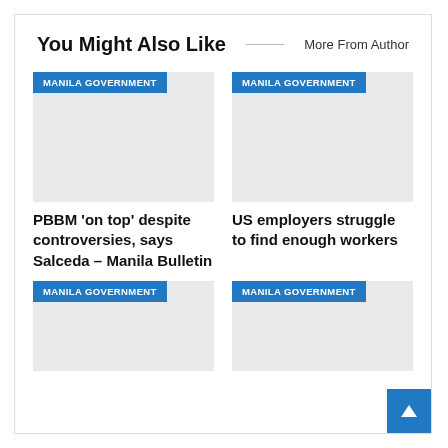You Might Also Like
More From Author
[Figure (screenshot): Article thumbnail placeholder with MANILA GOVERNMENT tag]
[Figure (screenshot): Article thumbnail placeholder with MANILA GOVERNMENT tag]
PBBM 'on top' despite controversies, says Salceda – Manila Bulletin
US employers struggle to find enough workers
[Figure (screenshot): Article thumbnail placeholder with MANILA GOVERNMENT tag]
[Figure (screenshot): Article thumbnail placeholder with MANILA GOVERNMENT tag]